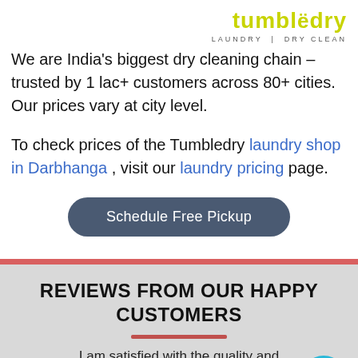[Figure (logo): Tumbledry logo with text 'LAUNDRY | DRY CLEAN' tagline]
We are India's biggest dry cleaning chain – trusted by 1 lac+ customers across 80+ cities. Our prices vary at city level.
To check prices of the Tumbledry laundry shop in Darbhanga , visit our laundry pricing page.
Schedule Free Pickup
REVIEWS FROM OUR HAPPY CUSTOMERS
I am satisfied with the quality and